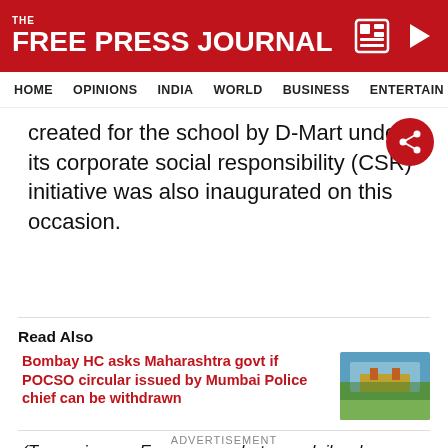THE FREE PRESS JOURNAL
HOME | OPINIONS | INDIA | WORLD | BUSINESS | ENTERTAIN
created for the school by D-Mart under its corporate social responsibility (CSR) initiative was also inaugurated on this occasion.
Read Also
Bombay HC asks Maharashtra govt if POCSO circular issued by Mumbai Police chief can be withdrawn
[Figure (photo): Exterior photo of a large heritage building with trees and blue sky]
(To receive our E-paper on whatsapp daily, please click here. To receive it on Telegram, please click here. We permit sharing of the paper's PDF on WhatsApp and other social media platforms.)
ADVERTISEMENT